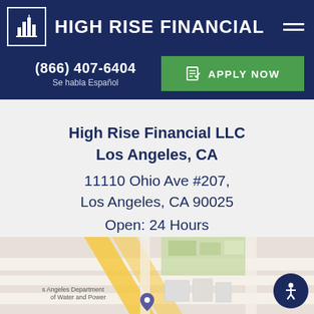[Figure (logo): High Rise Financial logo with city skyline icon in white box, company name in white bold text on navy background, hamburger menu icon]
(866) 407-6404
Se habla Español
APPLY NOW
High Rise Financial LLC
Los Angeles, CA
11110 Ohio Ave #207,
Los Angeles, CA 90025
Open: 24 Hours
(866) 399-1079
[Figure (map): Google Maps screenshot showing Los Angeles area with Los Angeles Department of Water and Power location marker, streets visible with yellow and green road markings]